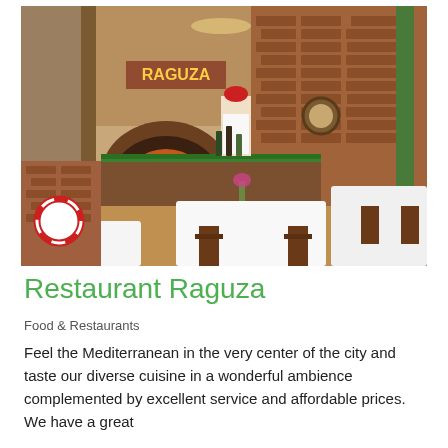[Figure (photo): Interior of Restaurant Raguza showing a rustic Mediterranean-style dining room with brick walls, a wood-fired pizza oven, a chef working behind a bar counter with green trim, decorative nautical items including a life preserver ring, wooden dining tables with white tablecloths, and wooden chairs.]
Restaurant Raguza
Food & Restaurants
Feel the Mediterranean in the very center of the city and taste our diverse cuisine in a wonderful ambience complemented by excellent service and affordable prices. We have a great